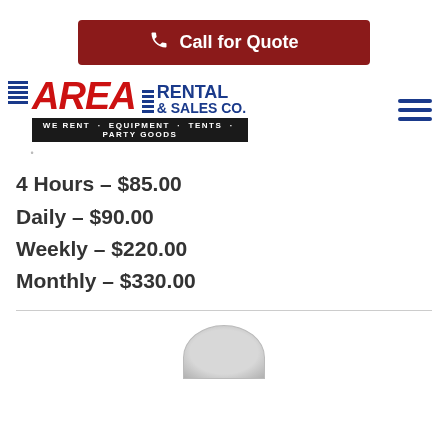[Figure (logo): Call for Quote button with phone icon, dark red background]
[Figure (logo): Area Rental & Sales Co. logo with tagline WE RENT · EQUIPMENT · TENTS · PARTY GOODS]
4 Hours – $85.00
Daily – $90.00
Weekly – $220.00
Monthly – $330.00
[Figure (photo): Partial cropped product image at bottom of page]